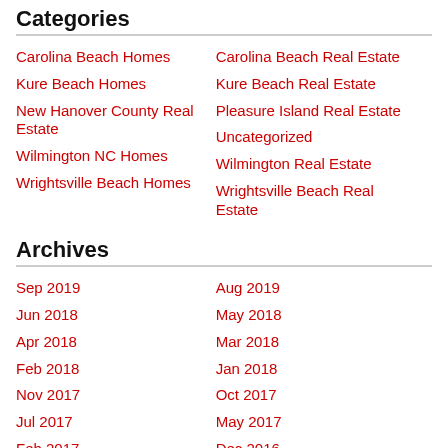Categories
Carolina Beach Homes
Carolina Beach Real Estate
Kure Beach Homes
Kure Beach Real Estate
New Hanover County Real Estate
Pleasure Island Real Estate
Uncategorized
Wilmington NC Homes
Wilmington Real Estate
Wrightsville Beach Homes
Wrightsville Beach Real Estate
Archives
Sep 2019
Aug 2019
Jun 2018
May 2018
Apr 2018
Mar 2018
Feb 2018
Jan 2018
Nov 2017
Oct 2017
Jul 2017
May 2017
Feb 2017
Dec 2016